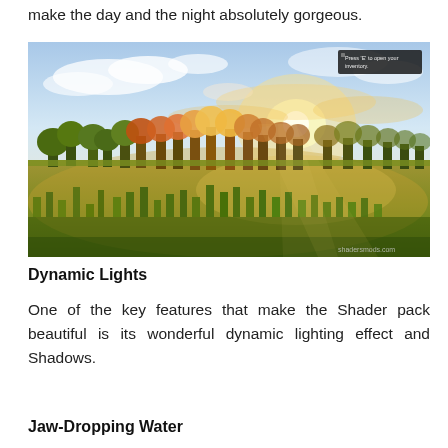make the day and the night absolutely gorgeous.
[Figure (screenshot): Minecraft screenshot with a shader pack showing a gorgeous landscape at golden hour/sunset. Green grass, trees, a glowing sun, dramatic clouds in a blue-white sky. A small UI tooltip in the top-right corner reads 'Press E to open your inventory.' Watermark 'shadersmods.com' in the bottom-right corner.]
Dynamic Lights
One of the key features that make the Shader pack beautiful is its wonderful dynamic lighting effect and Shadows.
Jaw-Dropping Water